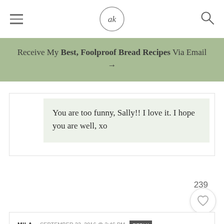ak (logo)
Receive My Best, Foolproof Bread Recipes Via Email →
You are too funny, Sally!! I love it. I hope you are well, xo
239
MILA — SEPTEMBER 22, 2016 @ 2:46 PM  REPLY
Ahhhh yes! I want this all!!!! But most of all I WANT THAT BREAD! It looks like such perfection with this dip!!! This is like a better